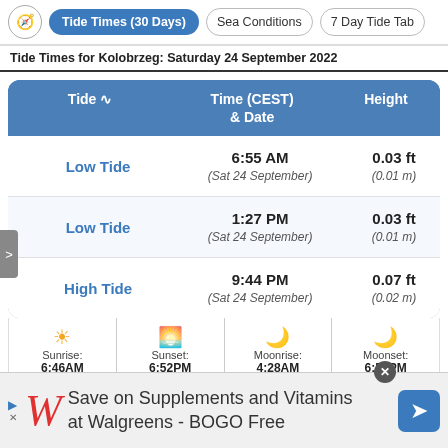Tide Times (30 Days) | Sea Conditions | 7 Day Tide Tab
Tide Times for Kolobrzeg: Saturday 24 September 2022
| Tide | Time (CEST) & Date | Height |
| --- | --- | --- |
| Low Tide | 6:55 AM (Sat 24 September) | 0.03 ft (0.01 m) |
| Low Tide | 1:27 PM (Sat 24 September) | 0.03 ft (0.01 m) |
| High Tide | 9:44 PM (Sat 24 September) | 0.07 ft (0.02 m) |
Sunrise: 6:46AM | Sunset: 6:52PM | Moonrise: 4:28AM | Moonset: 6:53PM
Save on Supplements and Vitamins at Walgreens - BOGO Free